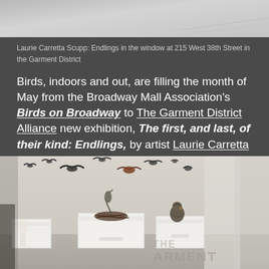[Figure (photo): Top partial image showing a light gray/white surface with some object visible at the edge — appears to be part of an art installation or window display]
Laurie Carretta Scupp: Endlings in the window at 215 West 38th Street in the Garment District
Birds, indoors and out, are filling the month of May from the Broadway Mall Association's Birds on Broadway to The Garment District Alliance new exhibition, The first, and last, of their kind: Endlings, by artist Laurie Carretta Scupp.
[Figure (photo): Photo of an art installation showing taxidermied birds mounted on a wall flying upward, with white box-like pedestals on the floor holding nesting birds and a hawk, with text 'THE GARMENT' partially visible in the background]